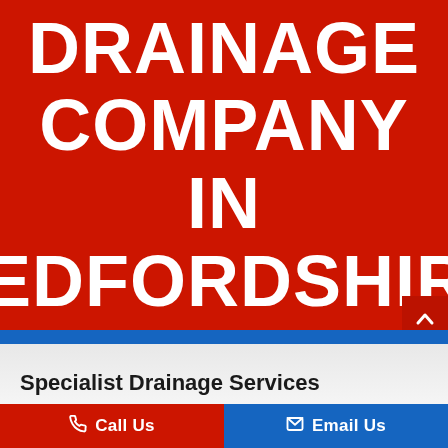DRAINAGE COMPANY IN BEDFORDSHIRE
Specialist Drainage Services
Call Us
Email Us